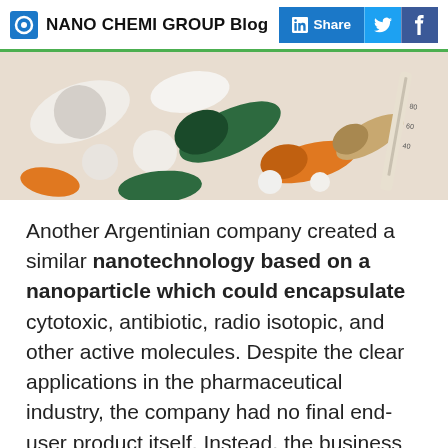NANO CHEMI GROUP Blog
[Figure (photo): Close-up photo of various pharmaceutical capsules and pills (white, green, orange) with a syringe visible on the right side]
Another Argentinian company created a similar nanotechnology based on a nanoparticle which could encapsulate cytotoxic, antibiotic, radio isotopic, and other active molecules. Despite the clear applications in the pharmaceutical industry, the company had no final end-user product itself. Instead, the business is now located upstream in the pharmaceutical value chain